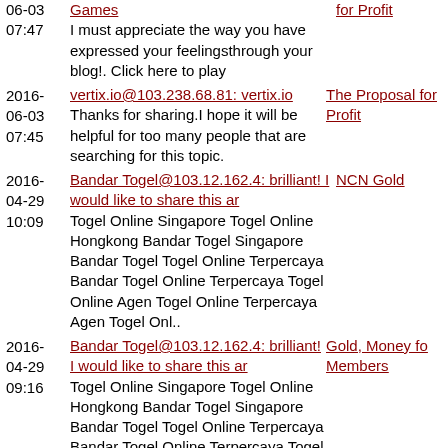06-03 Games | for Profit
07:47 I must appreciate the way you have expressed your feelingsthrough your blog!. Click here to play
2016-06-03 07:45 vertix.io@103.238.68.81: vertix.io | The Proposal for Profit
Thanks for sharing.I hope it will be helpful for too many people that are searching for this topic.
2016-04-29 10:09 Bandar Togel@103.12.162.4: brilliant! I would like to share this ar | NCN Gold
Togel Online Singapore Togel Online Hongkong Bandar Togel Singapore Bandar Togel Togel Online Terpercaya Bandar Togel Online Terpercaya Togel Online Agen Togel Online Terpercaya Agen Togel Onl..
2016-04-29 09:16 Bandar Togel@103.12.162.4: brilliant! I would like to share this ar | Gold, Money for Members
Togel Online Singapore Togel Online Hongkong Bandar Togel Singapore Bandar Togel Togel Online Terpercaya Bandar Togel Online Terpercaya Togel Online Agen Togel Online Terpercaya Agen Togel Onl..
2016-04-29 09:05 Bandar Togel@103.12.162.4: brilliant! I would like to share this ar | GoldX
Togel Online Singapore Togel Online Hongkong Bandar Togel Singapore Bandar Togel Togel Online Terpercaya Bandar Togel Online